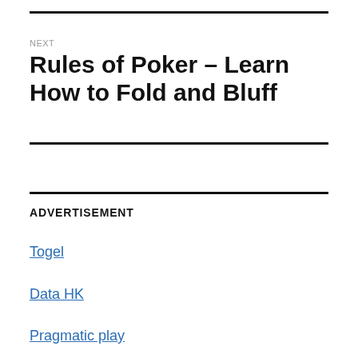NEXT
Rules of Poker – Learn How to Fold and Bluff
ADVERTISEMENT
Togel
Data HK
Pragmatic play